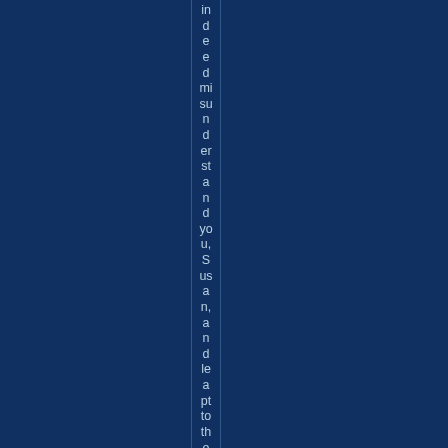indeed misunderstand you, Susan, and leapt to the wr